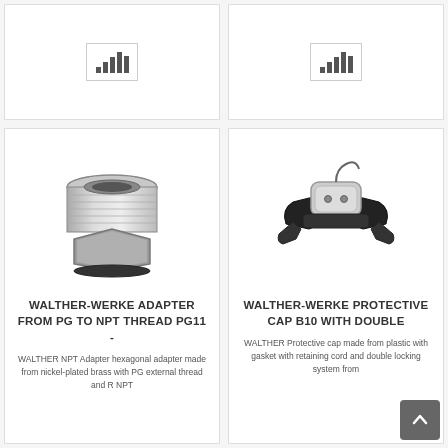[Figure (other): Placeholder chart icon bar chart symbol in top-left card]
[Figure (other): Placeholder chart icon bar chart symbol in top-right card]
[Figure (photo): WALTHER-WERKE nickel-plated brass hexagonal adapter from PG to NPT thread PG11]
WALTHER-WERKE ADAPTER FROM PG TO NPT THREAD PG11 -
WALTHER NPT Adapter hexagonal adapter made from nickel-plated brass with PG external thread and R NPT
[Figure (photo): WALTHER-WERKE Protective cap B10 with double locking system, plastic with gasket and retaining cord]
WALTHER-WERKE PROTECTIVE CAP B10 WITH DOUBLE
WALTHER Protective cap made from plastic with gasket with retaining cord and double locking system from